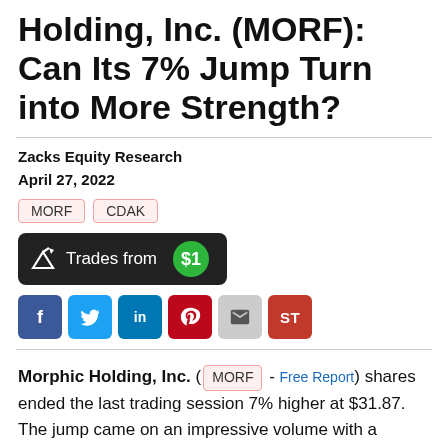Holding, Inc. (MORF): Can Its 7% Jump Turn into More Strength?
Zacks Equity Research
April 27, 2022
MORF  CDAK
[Figure (other): Trades from $1 promotional button with share icon and green dollar circle]
[Figure (other): Social sharing buttons: Facebook, Twitter, LinkedIn, Pinterest, Email, ST]
Morphic Holding, Inc. ( MORF - Free Report ) shares ended the last trading session 7% higher at $31.87. The jump came on an impressive volume with a higher-than-average number of shares changing hands in the session. This compares to the stock's